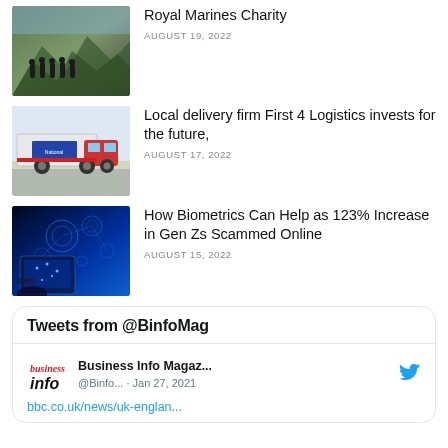[Figure (photo): Group of people in outdoor gear on rocky terrain - Royal Marines Charity]
Royal Marines Charity
AUGUST 19, 2022
[Figure (photo): Large delivery truck on road - First 4 Logistics]
Local delivery firm First 4 Logistics invests for the future,
AUGUST 17, 2022
[Figure (photo): Digital/tech image with blue lights and tablet - biometrics article]
How Biometrics Can Help as 123% Increase in Gen Zs Scammed Online
AUGUST 15, 2022
Tweets from @BinfoMag
Business Info Magaz...
@Binfo... · Jan 27, 2021
bbc.co.uk/news/uk-englan...